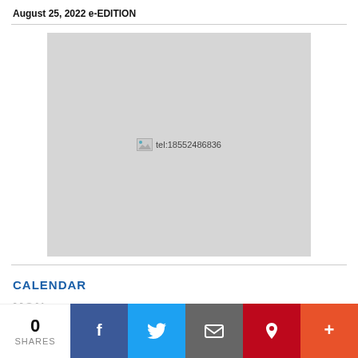August 25, 2022 e-EDITION
[Figure (other): Grey advertisement placeholder box with a broken image icon and telephone number tel:18552486836]
CALENDAR
MON  Mindfulness Meditation